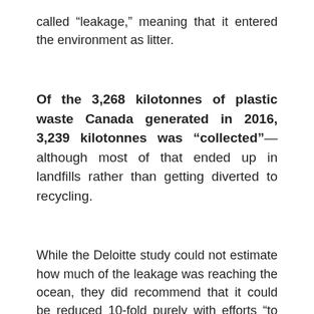called “leakage,” meaning that it entered the environment as litter.
Of the 3,268 kilotonnes of plastic waste Canada generated in 2016, 3,239 kilotonnes was “collected”— although most of that ended up in landfills rather than getting diverted to recycling.
While the Deloitte study could not estimate how much of the leakage was reaching the ocean, they did recommend that it could be reduced 10-fold purely with efforts “to reduce litter” and made no mention of bans.
A scientific backgrounder that accompanied an early